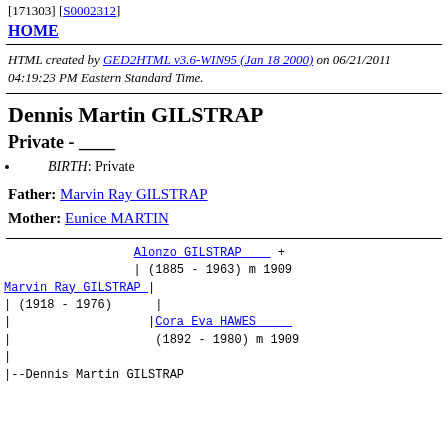[171303] [S0002312]
HOME
HTML created by GED2HTML v3.6-WIN95 (Jan 18 2000) on 06/21/2011 04:19:23 PM Eastern Standard Time.
Dennis Martin GILSTRAP
Private - ____
BIRTH: Private
Father: Marvin Ray GILSTRAP
Mother: Eunice MARTIN
Pedigree chart: Alonzo GILSTRAP + (1885 - 1963) m 1909 | Marvin Ray GILSTRAP | (1918 - 1976) | | Cora Eva HAWES | (1892 - 1980) m 1909 | |--Dennis Martin GILSTRAP